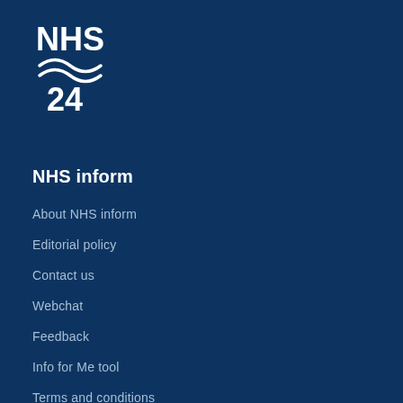[Figure (logo): NHS 24 logo with wave symbol in white on dark navy background]
NHS inform
About NHS inform
Editorial policy
Contact us
Webchat
Feedback
Info for Me tool
Terms and conditions
Privacy and cookies policy
Freedom of information (FOI)
Accessibility